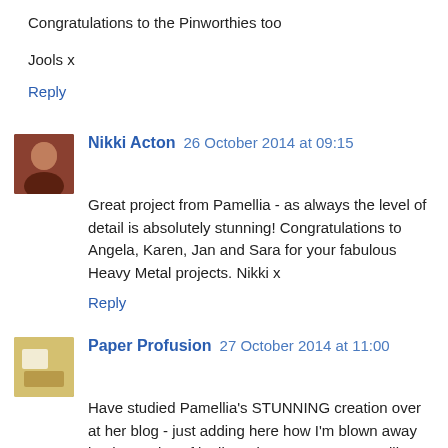Congratulations to the Pinworthies too
Jools x
Reply
Nikki Acton  26 October 2014 at 09:15
Great project from Pamellia - as always the level of detail is absolutely stunning! Congratulations to Angela, Karen, Jan and Sara for your fabulous Heavy Metal projects. Nikki x
Reply
Paper Profusion  27 October 2014 at 11:00
Have studied Pamellia's STUNNING creation over at her blog - just adding here how I'm blown away by the genius of it all. Serious congrats Pamellia on your wonderful guest design piece.